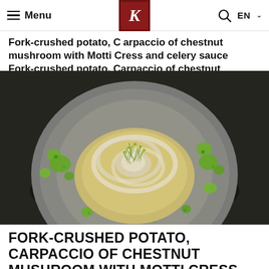Menu | K logo | Q EN
Fork-crushed potato, Carpaccio of chestnut mushroom with Motti Cress and celery sauce
[Figure (photo): Overhead shot of a gourmet dish on a grey ceramic plate: fork-crushed potatoes topped with thin slices of chestnut mushroom carpaccio, garnished with Motti Cress microgreens and dotted with bright green celery sauce, served on a dark background.]
FORK-CRUSHED POTATO, CARPACCIO OF CHESTNUT MUSHROOM WITH MOTTI CRESS